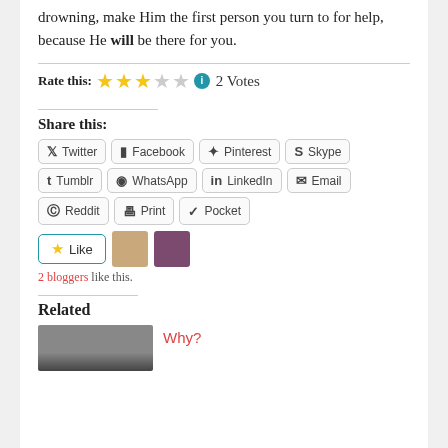drowning, make Him the first person you turn to for help, because He will be there for you.
Rate this: ★★★☆☆ 2 Votes
Share this:
Twitter
Facebook
Pinterest
Skype
Tumblr
WhatsApp
LinkedIn
Email
Reddit
Print
Pocket
2 bloggers like this.
Related
Why?